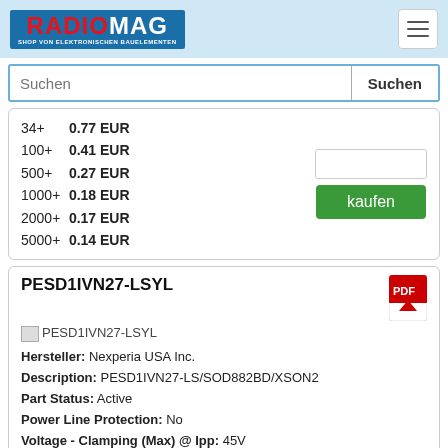RADIOMAG - SHOP VON ELEKTRONISCHEN BAUELEMENTEN
Suchen [search bar]
| Qty | Price |
| --- | --- |
| 34+ | 0.77 EUR |
| 100+ | 0.41 EUR |
| 500+ | 0.27 EUR |
| 1000+ | 0.18 EUR |
| 2000+ | 0.17 EUR |
| 5000+ | 0.14 EUR |
PESD1IVN27-LSYL
Hersteller: Nexperia USA Inc.
Description: PESD1IVN27-LS/SOD882BD/XSON2
Part Status: Active
Power Line Protection: No
Voltage - Clamping (Max) @ Ipp: 45V
Voltage - Breakdown (Min): 28V
Bidirectional Channels: 1
Supplier Device Package: DFN1006BD-2
Voltage - Reverse Standoff (Typ): 27V (Max)
Current - Peak Pulse (10/1000µs): 3A (8/20µs)
Capacitance @ Frequency: 14pF @ 1MHz
Applications: Automotive, CAN
Operating Temperature: -55°C ~ 150°C (TA)